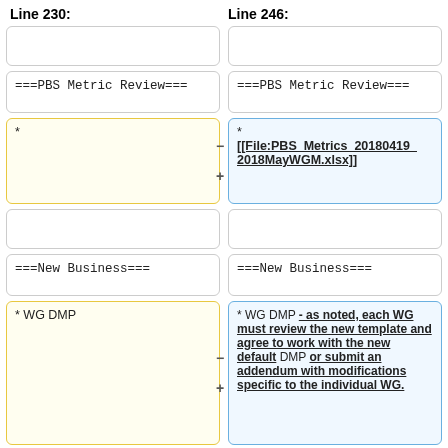Line 230:
Line 246:
(empty box)
(empty box)
===PBS Metric Review===
===PBS Metric Review===
*
* [[File:PBS_Metrics_20180419_2018MayWGM.xlsx]]
(empty box)
(empty box)
===New Business===
===New Business===
* WG DMP
* WG DMP - as noted, each WG must review the new template and agree to work with the new default DMP or submit an addendum with modifications specific to the individual WG.